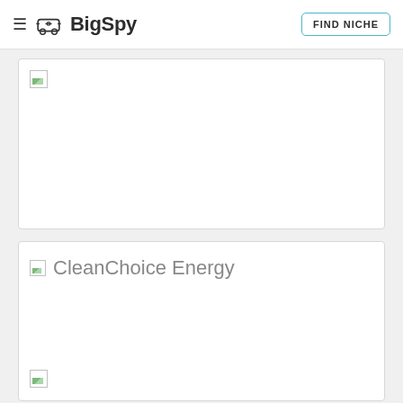BigSpy | FIND NICHE
[Figure (screenshot): Card with broken image icon in top-left corner, white background]
[Figure (screenshot): Card with broken image icon and CleanChoice Energy title, plus another broken image icon at bottom]